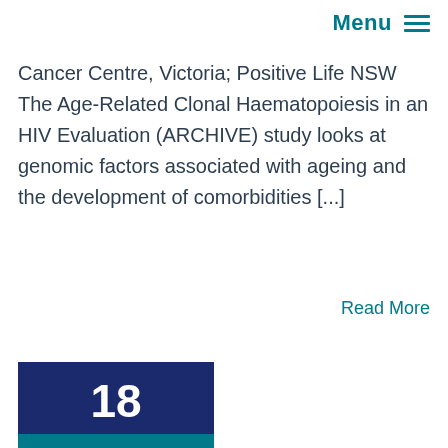Menu ≡
Cancer Centre, Victoria; Positive Life NSW The Age-Related Clonal Haematopoiesis in an HIV Evaluation (ARCHIVE) study looks at genomic factors associated with ageing and the development of comorbidities [...]
Read More
18 December 2020